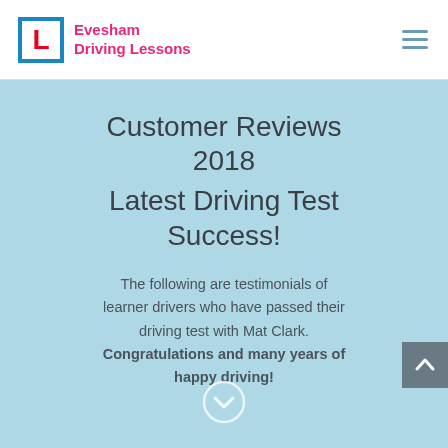[Figure (logo): Evesham Driving Lessons logo with blue L-plate box and pink text]
Customer Reviews 2018
Latest Driving Test Success!
The following are testimonials of learner drivers who have passed their driving test with Mat Clark. Congratulations and many years of happy driving!